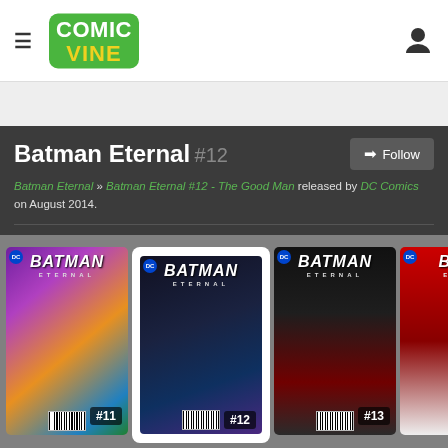Comic Vine
Batman Eternal #12
Batman Eternal » Batman Eternal #12 - The Good Man released by DC Comics on August 2014.
[Figure (illustration): Comic book covers carousel showing Batman Eternal issues #11, #12 (selected with white border), #13, and a partially visible #14]
#11, #12, #13